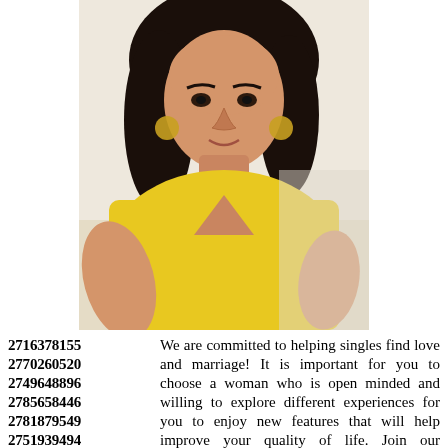[Figure (photo): Woman wearing a yellow top with dark hair, photographed from approximately the waist up.]
2716378155 We are committed to helping
2770260520 singles find love and marriage!
2749648896 It is important for you to choose
2785658446 a woman who is open minded
2781879549 and willing to explore different
2751939494 experiences for you to enjoy
2777321182 new features that will help
2786534954 improve your quality of life.
2741242266 Join our community website,
2726866278 check out your matches,
2769431489 send a quick message and
2760197835 get a feel for what the
2754891448 site is really nice and
2790804478 was very helpful and friendly.
2734215858 We want you to find love,
2792832232 to assist you in this quest,